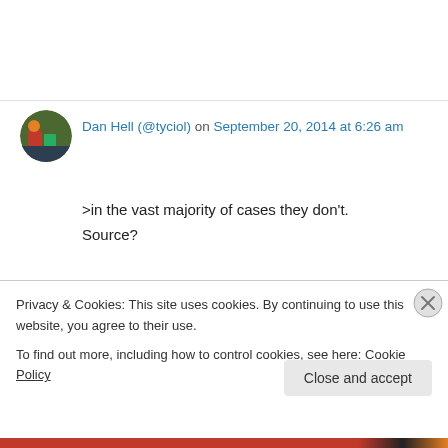Dan Hell (@tyciol) on September 20, 2014 at 6:26 am
>in the vast majority of cases they don't.
Source?
↳ Reply
Karen Ingala Smith on September 20, 2014 at 8:14 am
Privacy & Cookies: This site uses cookies. By continuing to use this website, you agree to their use.
To find out more, including how to control cookies, see here: Cookie Policy
Close and accept